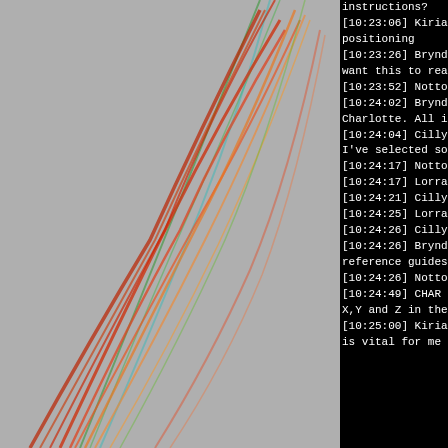[Figure (illustration): Abstract colorful light streaks (red, green, orange) on a grey background, arranged in sweeping curved lines]
instructions?
[10:23:06] Kiriam positioning
[10:23:26] Bryndy want this to really
[10:23:52] Nottoc
[10:24:02] Bryndy Charlotte. All in n
[10:24:04] Cilly (c I've selected so fa
[10:24:17] Nottoc
[10:24:17] Lorrain
[10:24:21] Cilly (c
[10:24:25] Lorrain
[10:24:26] Cilly (c
[10:24:26] Bryndy reference guides
[10:24:26] Nottoc
[10:24:49] CHAR X,Y and Z in the i
[10:25:00] Kiriam is vital for me